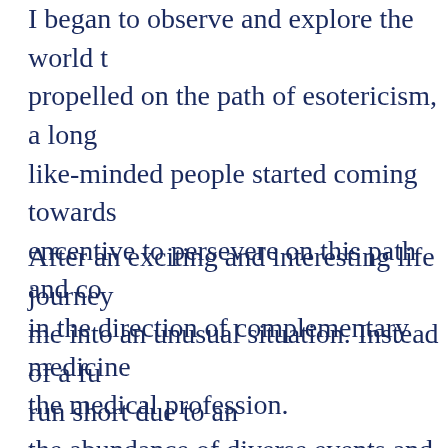I began to observe and explore the world t... propelled on the path of esotericism, a long... like-minded people started coming towards... encentive to persevere on this path and co... in the direction of complementary medicine... the medical profession.
After an exciting and interesting life journey... me into an unusual situation. Instead of a fu... run short due to an the abundance of diverse events and exper... same day was on repeat.
I decided to cross the threshold of monoton... stuck in this mode for the rest of my life lea... look back to with a joyous smile.
Suddenly it dawned on me that it was time... time with a change of focus towards myself...
This meant returning to the beginning of my...